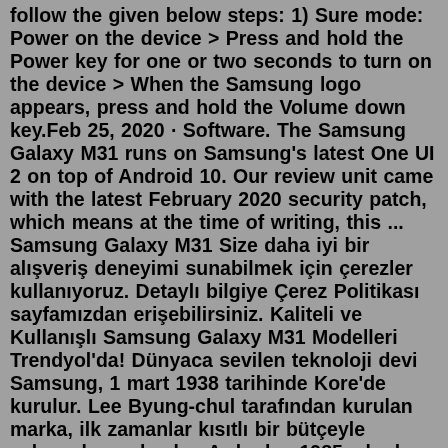follow the given below steps: 1) Sure mode: Power on the device > Press and hold the Power key for one or two seconds to turn on the device > When the Samsung logo appears, press and hold the Volume down key.Feb 25, 2020 · Software. The Samsung Galaxy M31 runs on Samsung's latest One UI 2 on top of Android 10. Our review unit came with the latest February 2020 security patch, which means at the time of writing, this ... Samsung Galaxy M31 Size daha iyi bir alışveriş deneyimi sunabilmek için çerezler kullanıyoruz. Detaylı bilgiye Çerez Politikası sayfamızdan erişebilirsiniz. Kaliteli ve Kullanışlı Samsung Galaxy M31 Modelleri Trendyol'da! Dünyaca sevilen teknoloji devi Samsung, 1 mart 1938 tarihinde Kore'de kurulur. Lee Byung-chul tarafından kurulan marka, ilk zamanlar kısıtlı bir bütçeyle çalışmalarına başlar. Ardından 1985 yılında cep telefonu sektörüne giriş yapar.May 06, 2020 · NFC var. Düşük ışık kamera performansı. Yavaş şarj. Yük altında ısınıyor. Samsung'un geçtiğimiz sene piyasaya sürdüğü M30 serisinden Galaxy M30s